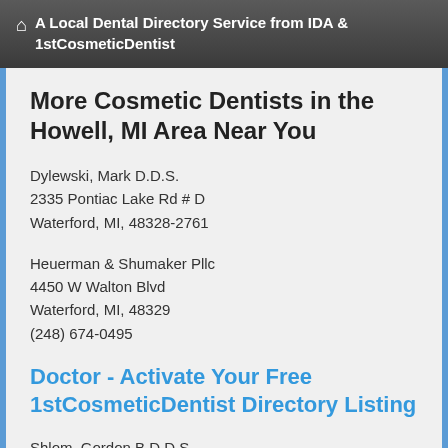🏠 A Local Dental Directory Service from IDA & 1stCosmeticDentist
More Cosmetic Dentists in the Howell, MI Area Near You
Dylewski, Mark D.D.S.
2335 Pontiac Lake Rd # D
Waterford, MI, 48328-2761
Heuerman & Shumaker Pllc
4450 W Walton Blvd
Waterford, MI, 48329
(248) 674-0495
Doctor - Activate Your Free 1stCosmeticDentist Directory Listing
Shlom, Gordon B D.D.S.
2759 Elizabeth Lake Rd # 100
Waterford, MI, 48328-3291
Metropolitan Dental Ctr